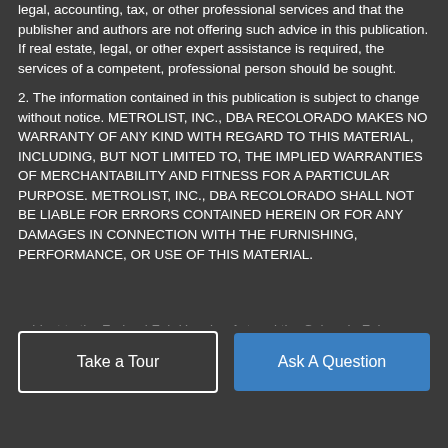legal, accounting, tax, or other professional services and that the publisher and authors are not offering such advice in this publication. If real estate, legal, or other expert assistance is required, the services of a competent, professional person should be sought.
2. The information contained in this publication is subject to change without notice. METROLIST, INC., DBA RECOLORADO MAKES NO WARRANTY OF ANY KIND WITH REGARD TO THIS MATERIAL, INCLUDING, BUT NOT LIMITED TO, THE IMPLIED WARRANTIES OF MERCHANTABILITY AND FITNESS FOR A PARTICULAR PURPOSE. METROLIST, INC., DBA RECOLORADO SHALL NOT BE LIABLE FOR ERRORS CONTAINED HEREIN OR FOR ANY DAMAGES IN CONNECTION WITH THE FURNISHING, PERFORMANCE, OR USE OF THIS MATERIAL.
3. PUBLISHER'S NOTICE: All real estate advertised herein is subject to the Federal Fair Housing Act and the Colorado Fair
Take a Tour
Ask A Question